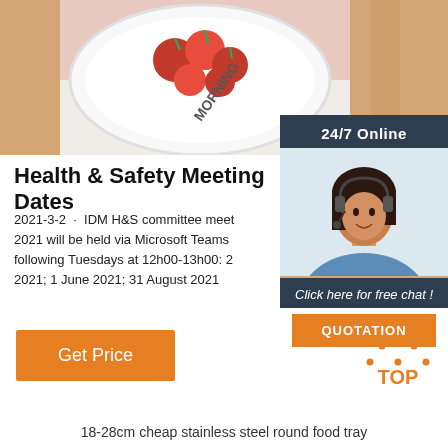[Figure (photo): Top image showing a plate with tomatoes/berries and text 'MORNING', partial view of person holding plate]
[Figure (photo): Sidebar showing 24/7 Online support with woman wearing headset, 'Click here for free chat!' text and QUOTATION button]
Health & Safety Meeting Dates
2021-3-2 · IDM H&S committee meetings for 2021 will be held via Microsoft Teams on the following Tuesdays at 12h00-13h00: 2 ... 2021; 1 June 2021; 31 August 2021
[Figure (other): Orange 'Get Price' button]
[Figure (other): TOP icon with dotted triangle above orange text 'TOP']
18-28cm cheap stainless steel round food tray